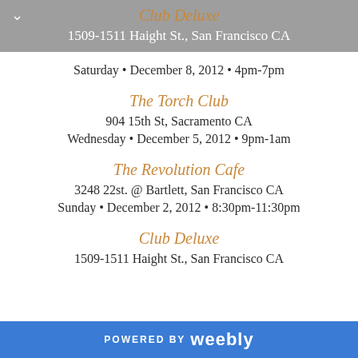Club Deluxe
1509-1511 Haight St., San Francisco CA
Saturday • December 8, 2012 • 4pm-7pm
The Torch Club
904 15th St, Sacramento CA
Wednesday • December 5, 2012 • 9pm-1am
The Revolution Cafe
3248 22st. @ Bartlett, San Francisco CA
Sunday • December 2, 2012 • 8:30pm-11:30pm
Club Deluxe
1509-1511 Haight St., San Francisco CA
POWERED BY weebly